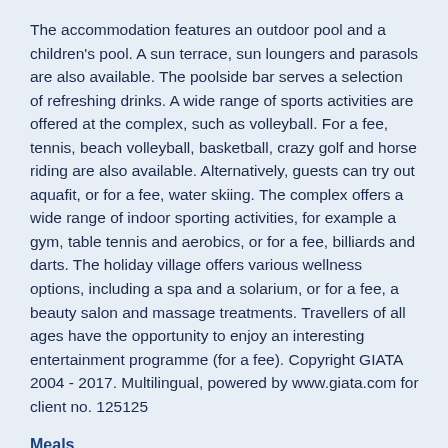The accommodation features an outdoor pool and a children's pool. A sun terrace, sun loungers and parasols are also available. The poolside bar serves a selection of refreshing drinks. A wide range of sports activities are offered at the complex, such as volleyball. For a fee, tennis, beach volleyball, basketball, crazy golf and horse riding are also available. Alternatively, guests can try out aquafit, or for a fee, water skiing. The complex offers a wide range of indoor sporting activities, for example a gym, table tennis and aerobics, or for a fee, billiards and darts. The holiday village offers various wellness options, including a spa and a solarium, or for a fee, a beauty salon and massage treatments. Travellers of all ages have the opportunity to enjoy an interesting entertainment programme (for a fee). Copyright GIATA 2004 - 2017. Multilingual, powered by www.giata.com for client no. 125125
Meals
All-inclusive is bookable. Breakfast, lunch and dinner are available.